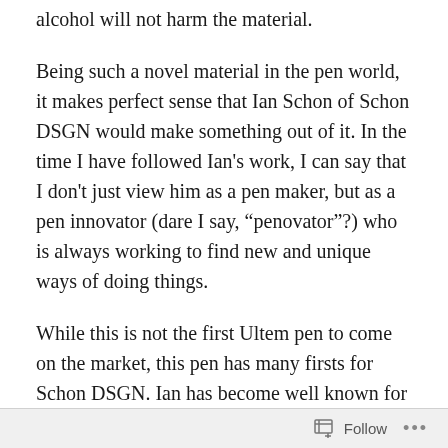alcohol will not harm the material.
Being such a novel material in the pen world, it makes perfect sense that Ian Schon of Schon DSGN would make something out of it. In the time I have followed Ian's work, I can say that I don't just view him as a pen maker, but as a pen innovator (dare I say, “penovator”?) who is always working to find new and unique ways of doing things.
While this is not the first Ultem pen to come on the market, this pen has many firsts for Schon DSGN. Ian has become well known for his Pocket Six model in various metals and finishes, but until now, all of his pens were designed as cartridge only pocket pens. This is not only a new material for Schon DSGN, but a
Follow ...